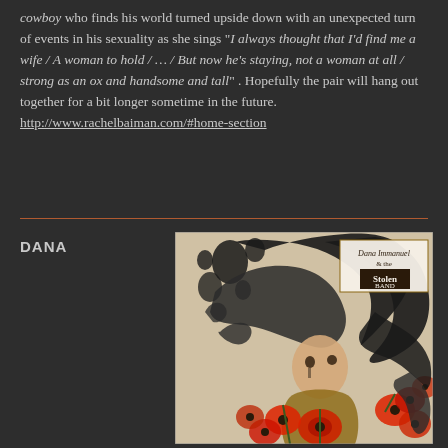cowboy who finds his world turned upside down with an unexpected turn of events in his sexuality as she sings "I always thought that I'd find me a wife / A woman to hold / ... / But now he's staying, not a woman at all / strong as an ox and handsome and tall" . Hopefully the pair will hang out together for a bit longer sometime in the future. http://www.rachelbaiman.com/#home-section
DANA
[Figure (illustration): Album cover for Dana Immanuel & the Stolen Band featuring an Art Nouveau-style illustration of a woman with flowing dark hair surrounded by red poppies, with the band name in decorative lettering in the upper right corner.]